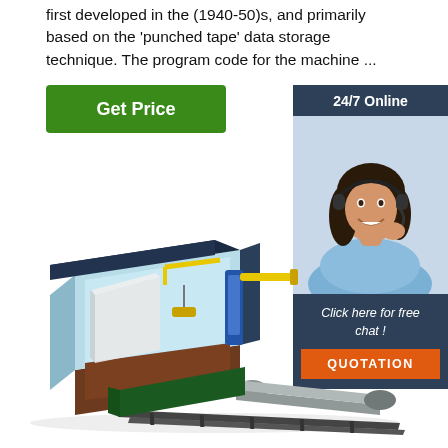first developed in the (1940-50)s, and primarily based on the 'punched tape' data storage technique. The program code for the machine ...
Get Price
[Figure (illustration): Sidebar with '24/7 Online' header, photo of woman with headset, 'Click here for free chat!' text, and orange QUOTATION button]
[Figure (engineering-diagram): 3D isometric cutaway view of a CNC punching or extrusion machine system with dark blue enclosure, yellow crane arm, light blue chamber interior, and a long cylindrical tube/barrel assembly on rails extending to the right]